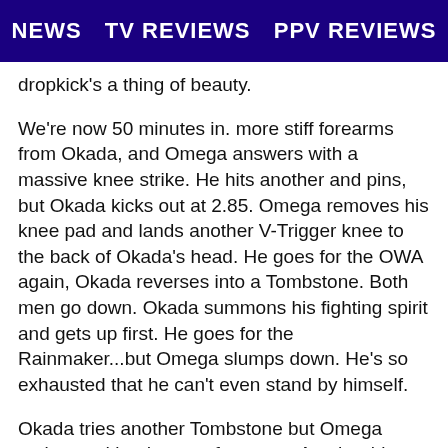NEWS  TV REVIEWS  PPV REVIEWS
dropkick's a thing of beauty.
We're now 50 minutes in. more stiff forearms from Okada, and Omega answers with a massive knee strike. He hits another and pins, but Okada kicks out at 2.85. Omega removes his knee pad and lands another V-Trigger knee to the back of Okada's head. He goes for the OWA again, Okada reverses into a Tombstone. Both men go down. Okada summons his fighting spirit and gets up first. He goes for the Rainmaker...but Omega slumps down. He's so exhausted that he can't even stand by himself.
Okada tries another Tombstone but Omega resists and lands more forearms. Another big knee smash to Okada by Omega at the fifty-five-minute mark. Then another. Then a third. But Omega doesn't pin right